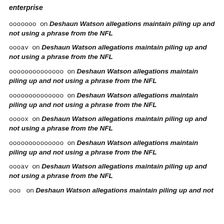enterprise
ооооооо on Deshaun Watson allegations maintain piling up and not using a phrase from the NFL
оооаv on Deshaun Watson allegations maintain piling up and not using a phrase from the NFL
оооооооооооооо on Deshaun Watson allegations maintain piling up and not using a phrase from the NFL
оооооооооооооо on Deshaun Watson allegations maintain piling up and not using a phrase from the NFL
оооох on Deshaun Watson allegations maintain piling up and not using a phrase from the NFL
оооооооооооооо on Deshaun Watson allegations maintain piling up and not using a phrase from the NFL
оооаv on Deshaun Watson allegations maintain piling up and not using a phrase from the NFL
ооо on Deshaun Watson allegations maintain piling up and not...